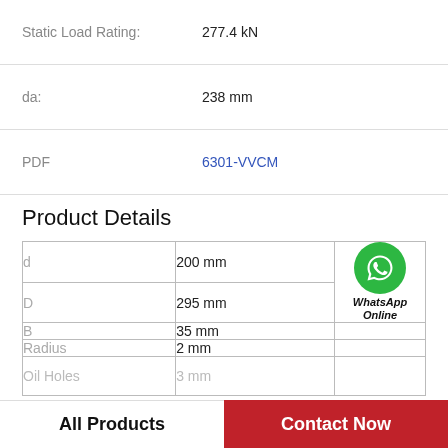Static Load Rating: 277.4 kN
da: 238 mm
PDF 6301-VVCM
Product Details
|  | Value |  |
| --- | --- | --- |
| d | 200 mm | WhatsApp Online |
| D | 295 mm |  |
| B | 35 mm |  |
| Radius | 2 mm |  |
| Oil Holes | 3 mm |  |
All Products
Contact Now